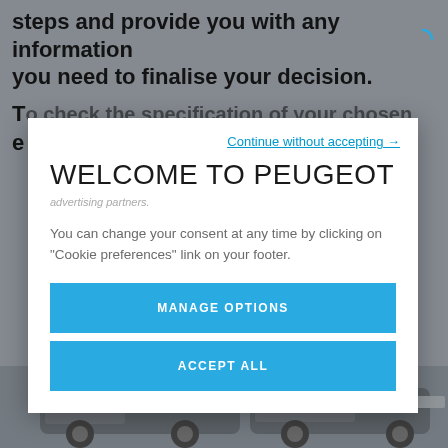steps and provide you with any information you need to finalise your decision.
T... e...
WELCOME TO PEUGEOT
advertising partners.
You can change your consent at any time by clicking on “Cookie preferences” link on your footer.
Continue without accepting →
MANAGE OPTIONS
ACCEPT ALL
[Figure (photo): Partial view of a grey Peugeot van at the bottom of the page]